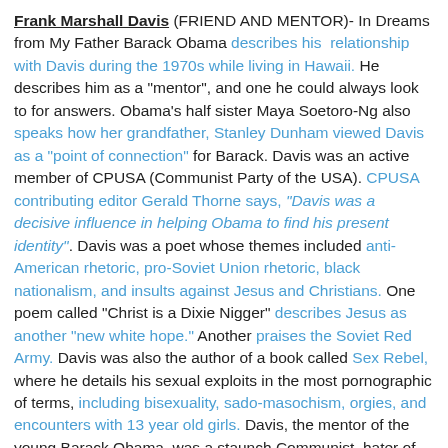Frank Marshall Davis (FRIEND AND MENTOR)- In Dreams from My Father Barack Obama describes his relationship with Davis during the 1970s while living in Hawaii. He describes him as a "mentor", and one he could always look to for answers. Obama's half sister Maya Soetoro-Ng also speaks how her grandfather, Stanley Dunham viewed Davis as a "point of connection" for Barack. Davis was an active member of CPUSA (Communist Party of the USA). CPUSA contributing editor Gerald Thorne says, "Davis was a decisive influence in helping Obama to find his present identity". Davis was a poet whose themes included anti-American rhetoric, pro-Soviet Union rhetoric, black nationalism, and insults against Jesus and Christians. One poem called "Christ is a Dixie Nigger" describes Jesus as another "new white hope." Another praises the Soviet Red Army. Davis was also the author of a book called Sex Rebel, where he details his sexual exploits in the most pornographic of terms, including bisexuality, sado-masochism, orgies, and encounters with 13 year old girls. Davis, the mentor of the young Barack Obama, was a staunch Communist, hater of Christians, drug dealer, and a complete pervert.